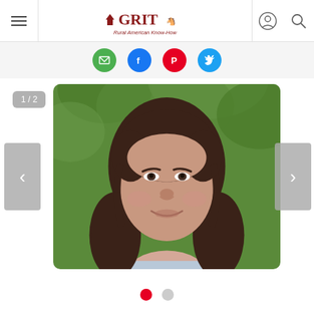GRIT — Rural American Know-How
[Figure (photo): Portrait photo of a smiling woman with brown shoulder-length hair against a green leafy outdoor background. Slideshow UI: counter badge '1 / 2', left and right navigation arrows, and two dot indicators at the bottom (first dot active/red, second dot inactive/gray).]